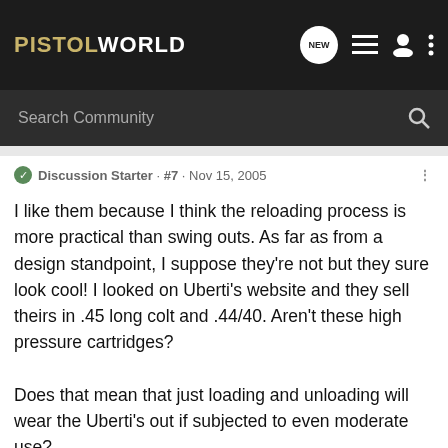PISTOLWORLD
Search Community
Discussion Starter · #7 · Nov 15, 2005
I like them because I think the reloading process is more practical than swing outs. As far as from a design standpoint, I suppose they're not but they sure look cool! I looked on Uberti's website and they sell theirs in .45 long colt and .44/40. Aren't these high pressure cartridges?

Does that mean that just loading and unloading will wear the Uberti's out if subjected to even moderate use?
[Figure (photo): Advertisement banner for Franklin Armory with BFS logo and person shooting a rifle]